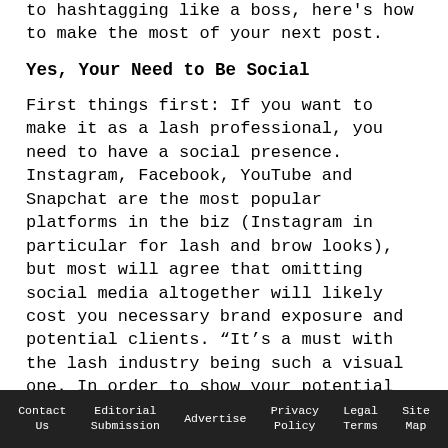to hashtagging like a boss, here's how to make the most of your next post.
Yes, Your Need to Be Social
First things first: If you want to make it as a lash professional, you need to have a social presence. Instagram, Facebook, YouTube and Snapchat are the most popular platforms in the biz (Instagram in particular for lash and brow looks), but most will agree that omitting social media altogether will likely cost you necessary brand exposure and potential clients. “It’s a must with the lash industry being such a visual one. In order to show your potential customers your skills and what sets you
Contact Us   Editorial Submission   Advertise   Privacy Policy   Legal Terms   Site Map